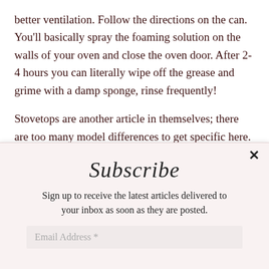better ventilation. Follow the directions on the can. You'll basically spray the foaming solution on the walls of your oven and close the oven door. After 2-4 hours you can literally wipe off the grease and grime with a damp sponge, rinse frequently!
Stovetops are another article in themselves; there are too many model differences to get specific here. There are some wonderful cooktop cleaners for those who want to make their glass top sparkle a bit. My best friend in the kitchen is dish soap, I use Joy soap but
Subscribe
Sign up to receive the latest articles delivered to your inbox as soon as they are posted.